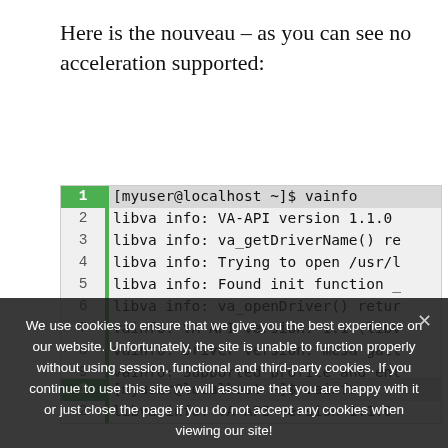Here is the nouveau – as you can see no acceleration supported:
[Figure (screenshot): Terminal/code block showing vainfo command output with line numbers 1-10. Line 1 is highlighted green and shows '[myuser@localhost ~]$ vainfo'. Lines 2-10 show libva info and vainfo output messages.]
We use cookies to ensure that we give you the best experience on our website. Unfortunately, the site is unable to function properly without using session, functional and third-party cookies. If you continue to use this site we will assume that you are happy with it or just close the page if you do not accept any cookies when viewing our site!
[Figure (screenshot): Partial second terminal code block at bottom, showing line 1 '[myuser@localhost ~]$ vainfo' and line 2 'libva info: VA-API version 1.1.0']